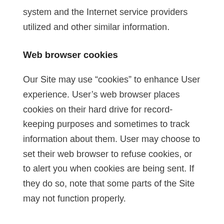system and the Internet service providers utilized and other similar information.
Web browser cookies
Our Site may use “cookies” to enhance User experience. User’s web browser places cookies on their hard drive for record-keeping purposes and sometimes to track information about them. User may choose to set their web browser to refuse cookies, or to alert you when cookies are being sent. If they do so, note that some parts of the Site may not function properly.